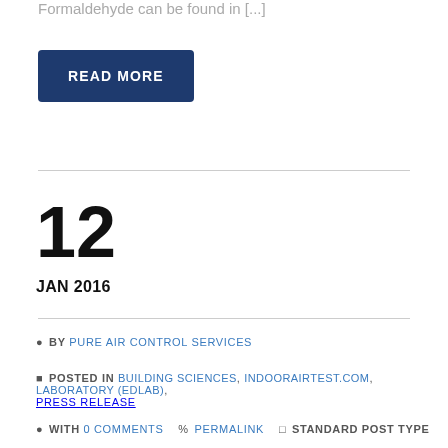Formaldehyde can be found in [...]
READ MORE
12
JAN 2016
BY PURE AIR CONTROL SERVICES
POSTED IN BUILDING SCIENCES, INDOORAIRTEST.COM, LABORATORY (EDLAB),
PRESS RELEASE
WITH 0 COMMENTS  PERMALINK  STANDARD POST TYPE